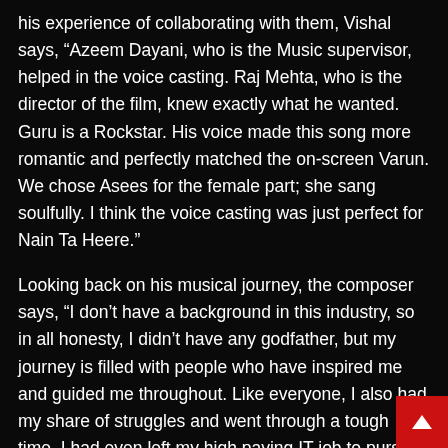his experience of collaborating with them, Vishal says, “Azeem Dayani, who is the Music supervisor, helped in the voice casting. Raj Mehta, who is the director of the film, knew exactly what he wanted. Guru is a Rockstar. His voice made this song more romantic and perfectly matched the on-screen Varun. We chose Asees for the female part; she sang soulfully. I think the voice casting was just perfect for Nain Ta Heere.”
Looking back on his musical journey, the composer says, “I don’t have a background in this industry, so in all honesty, I didn’t have any godfather, but my journey is filled with people who have inspired me and guided me throughout. Like everyone, I also had my share of struggles and went through a tough time. I had even left my high paying IT job to pursue my dream. But ultimately patience paid off, and I...